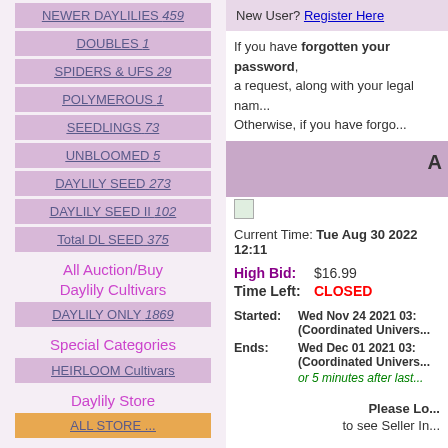NEWER DAYLILIES 459
DOUBLES 1
SPIDERS & UFS 29
POLYMEROUS 1
SEEDLINGS 73
UNBLOOMED 5
DAYLILY SEED 273
DAYLILY SEED II 102
Total DL SEED 375
All Auction/Buy Daylily Cultivars
DAYLILY ONLY 1869
Special Categories
HEIRLOOM Cultivars
Daylily Store
New User? Register Here
If you have forgotten your password, a request, along with your legal nam... Otherwise, if you have forgo...
A
Current Time: Tue Aug 30 2022 12:11
High Bid: $16.99
Time Left: CLOSED
Started: Wed Nov 24 2021 03:... (Coordinated Univers...
Ends: Wed Dec 01 2021 03:... (Coordinated Univers... or 5 minutes after last...
Please Lo... to see Seller In...